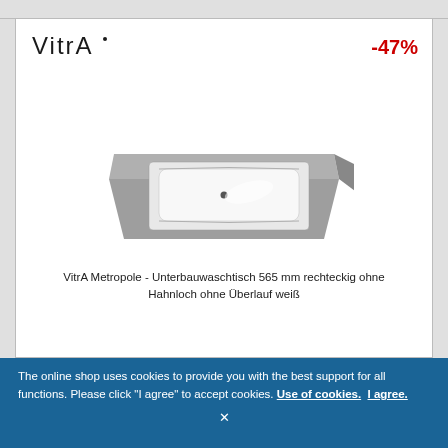[Figure (photo): VitrA brand logo text in dark serif font]
-47%
[Figure (photo): Product photo of a VitrA Metropole under-mount washbasin, rectangular, shown in perspective on a grey countertop, white basin with single tap hole and overflow visible]
VitrA Metropole - Unterbauwaschtisch 565 mm rechteckig ohne Hahnloch ohne Überlauf weiß
The online shop uses cookies to provide you with the best support for all functions. Please click "I agree" to accept cookies. Use of cookies. I agree.